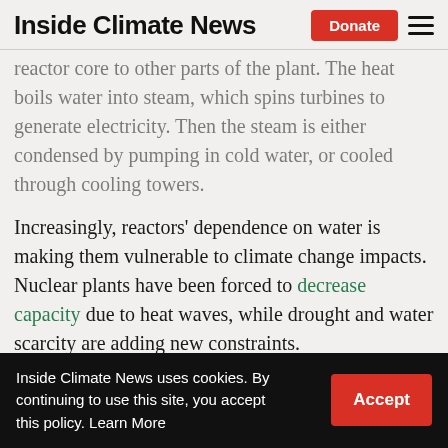Inside Climate News
reactor core to other parts of the plant. The heat boils water into steam, which spins turbines to generate electricity. Then the steam is either condensed by pumping in cold water, or cooled through cooling towers.
Increasingly, reactors' dependence on water is making them vulnerable to climate change impacts. Nuclear plants have been forced to decrease capacity due to heat waves, while drought and water scarcity are adding new constraints.
The Gen IV reactors could help mitigate that
Inside Climate News uses cookies. By continuing to use this site, you accept this policy. Learn More